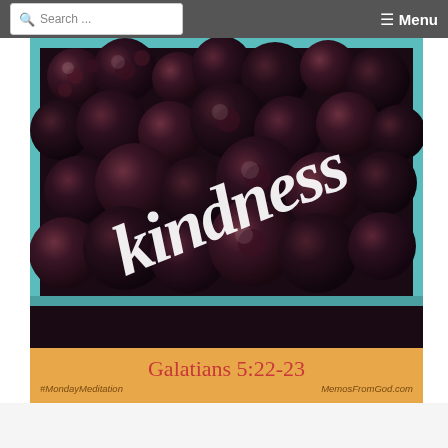Search ... Menu
[Figure (illustration): Photo of blackberries in a teal/mint colored berry carton with the word 'kindness' overlaid in large white italic script text, rotated diagonally. Below the photo is an orange banner with 'Galatians 5:22-23' in red text, and '#MondayMeditation' on the left and 'MemosFromGod.com' on the right in smaller brown italic text.]
Galatians 5:22-23
#MondayMeditation
MemosFromGod.com